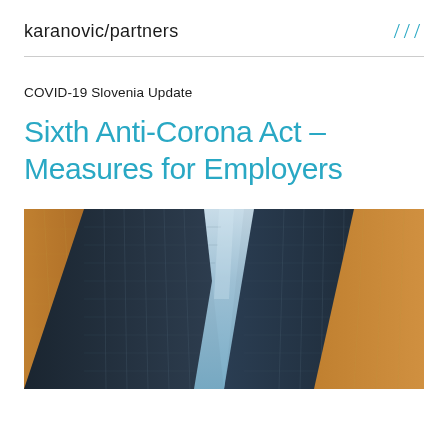karanovic/partners ///
COVID-19 Slovenia Update
Sixth Anti-Corona Act – Measures for Employers
[Figure (photo): Upward-angle fisheye view of glass skyscrapers converging toward a pale blue sky, dark building facades with grid windows framing a central sky gap]